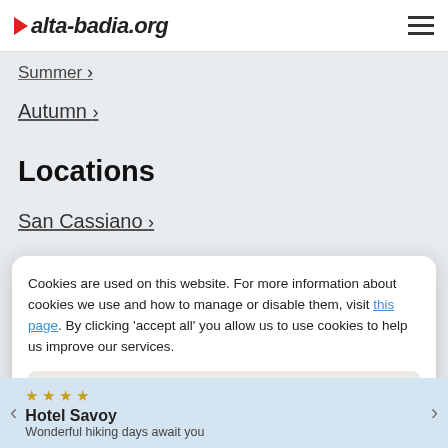alta-badia.org
Summer ›
Autumn ›
Locations
San Cassiano ›
Cookies are used on this website. For more information about cookies we use and how to manage or disable them, visit this page. By clicking 'accept all' you allow us to use cookies to help us improve our services.
Essential cookies only
Accept all
★ ★ ★ ★ Hotel Savoy — Wonderful hiking days await you